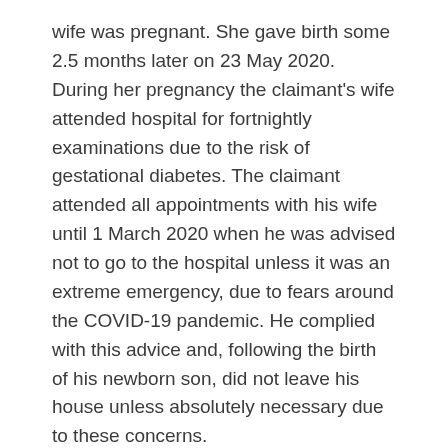wife was pregnant. She gave birth some 2.5 months later on 23 May 2020. During her pregnancy the claimant's wife attended hospital for fortnightly examinations due to the risk of gestational diabetes. The claimant attended all appointments with his wife until 1 March 2020 when he was advised not to go to the hospital unless it was an extreme emergency, due to fears around the COVID-19 pandemic. He complied with this advice and, following the birth of his newborn son, did not leave his house unless absolutely necessary due to these concerns.
The claimant thought his injuries would resolve, but they were not improving. On 28 July 2020 he contacted solicitors and was advised of the timeframes and requirements for making a claim. He did not